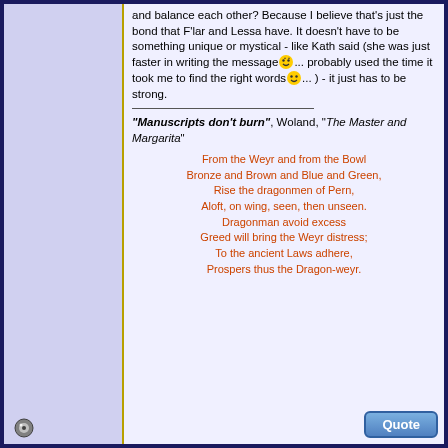and balance each other? Because I believe that's just the bond that F'lar and Lessa have. It doesn't have to be something unique or mystical - like Kath said (she was just faster in writing the message😄... probably used the time it took me to find the right words😊... ) - it just has to be strong.
"Manuscripts don't burn", Woland, "The Master and Margarita"
From the Weyr and from the Bowl
Bronze and Brown and Blue and Green,
Rise the dragonmen of Pern,
Aloft, on wing, seen, then unseen.
Dragonman avoid excess
Greed will bring the Weyr distress;
To the ancient Laws adhere,
Prospers thus the Dragon-weyr.